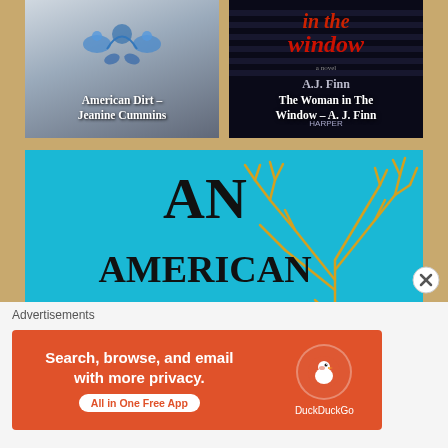[Figure (illustration): Book cover: American Dirt by Jeanine Cummins – gray/blue cover with decorative bird and floral motifs, white text overlay reading 'American Dirt – Jeanine Cummins']
[Figure (illustration): Book cover: The Woman in The Window by A. J. Finn – dark background with red and white title text, HarperLuxe imprint at bottom. Text overlay: 'The Woman in The Window – A. J. Finn']
[Figure (illustration): Book cover: An American Marriage – teal/cyan background with large gold tree illustration and bold black serif title text 'AN AMERICAN MARRIAGE']
Advertisements
[Figure (screenshot): DuckDuckGo advertisement banner with orange background. Text: 'Search, browse, and email with more privacy. All in One Free App' with DuckDuckGo logo and duck icon on the right.]